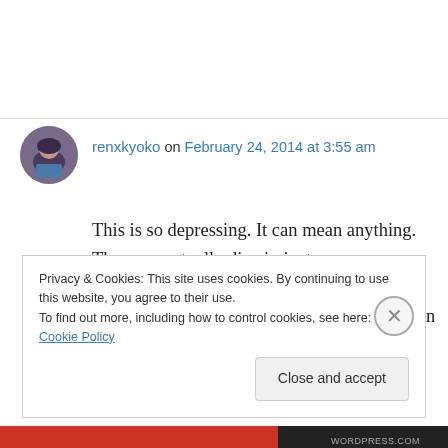renxkyoko on February 24, 2014 at 3:55 am
This is so depressing. It can mean anything. They can actually discriminate indiscriminately. I can go in there, a brown Asian -American, and not be served. They can just say I'm gay Asian – American, no ifs or buts……. but the truth is , I'm not white. this is horrible. How can they even tell
Privacy & Cookies: This site uses cookies. By continuing to use this website, you agree to their use.
To find out more, including how to control cookies, see here: Cookie Policy